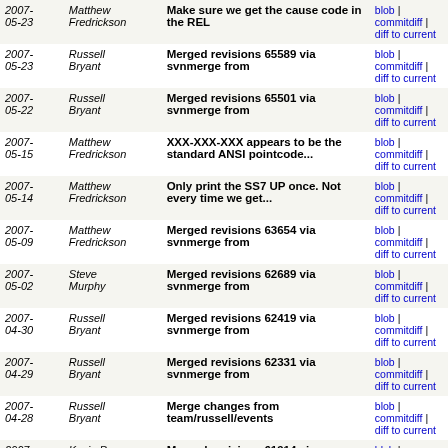| Date | Author | Message | Links |
| --- | --- | --- | --- |
| 2007-05-23 | Matthew Fredrickson | Make sure we get the cause code in the REL | blob | commitdiff | diff to current |
| 2007-05-23 | Russell Bryant | Merged revisions 65589 via svnmerge from | blob | commitdiff | diff to current |
| 2007-05-22 | Russell Bryant | Merged revisions 65501 via svnmerge from | blob | commitdiff | diff to current |
| 2007-05-15 | Matthew Fredrickson | XXX-XXX-XXX appears to be the standard ANSI pointcode... | blob | commitdiff | diff to current |
| 2007-05-14 | Matthew Fredrickson | Only print the SS7 UP once. Not every time we get... | blob | commitdiff | diff to current |
| 2007-05-09 | Matthew Fredrickson | Merged revisions 63654 via svnmerge from | blob | commitdiff | diff to current |
| 2007-05-02 | Steve Murphy | Merged revisions 62689 via svnmerge from | blob | commitdiff | diff to current |
| 2007-04-30 | Russell Bryant | Merged revisions 62419 via svnmerge from | blob | commitdiff | diff to current |
| 2007-04-29 | Russell Bryant | Merged revisions 62331 via svnmerge from | blob | commitdiff | diff to current |
| 2007-04-28 | Russell Bryant | Merge changes from team/russell/events | blob | commitdiff | diff to current |
| 2007-04-25 | Kevin P. Fleming | Merged revisions 61914 via svnmerge from | blob | commitdiff | diff to current |
| 2007-04-25 | Russell Bryant | Merged revisions 61799 via svnmerge from | blob | commitdiff | diff to current |
| 2007-04-24 | Dwayne M. Hubbard | removed #if 0 block from chan_zap restart_monitor() | blob | commitdiff | diff to current |